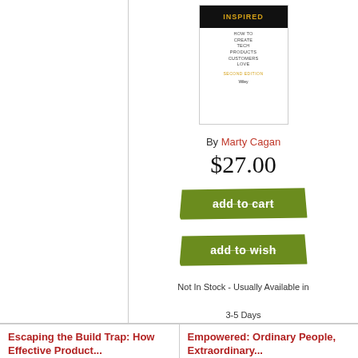[Figure (illustration): Book cover for 'Inspired: How to Create Tech Products Customers Love, Second Edition' by Marty Cagan, published by Wiley, with gold title text on dark background]
By Marty Cagan
$27.00
add to cart
add to wish
Not In Stock - Usually Available in 3-5 Days
Escaping the Build Trap: How Effective Product...
Empowered: Ordinary People, Extraordinary...